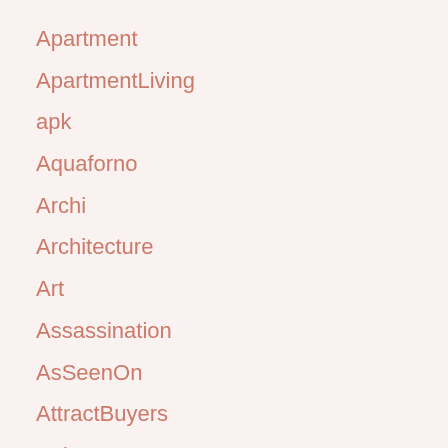Apartment
ApartmentLiving
apk
Aquaforno
Archi
Architecture
Art
Assassination
AsSeenOn
AttractBuyers
Baby
BabyBornSurprise
BabyClothesOrganizerIkea
BabyClothesSale
BabyClothes...